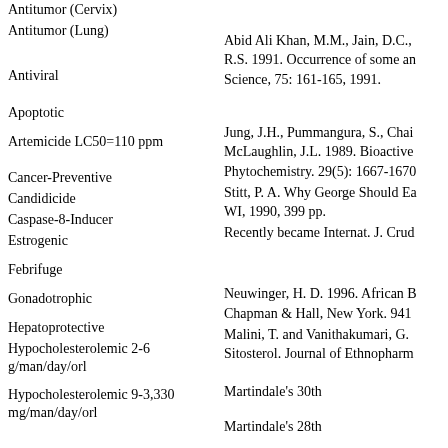Antitumor (Cervix)
Antitumor (Lung)
Abid Ali Khan, M.M., Jain, D.C., R.S. 1991. Occurrence of some ar Science, 75: 161-165, 1991.
Antiviral
Apoptotic
Jung, J.H., Pummangura, S., Chai McLaughlin, J.L. 1989. Bioactive Phytochemistry. 29(5): 1667-1670
Artemicide LC50=110 ppm
Stitt, P. A. Why George Should Ea WI, 1990, 399 pp.
Cancer-Preventive
Recently became Internat. J. Crud
Candidicide
Caspase-8-Inducer
Estrogenic
Neuwinger, H. D. 1996. African B Chapman & Hall, New York. 941
Febrifuge
Malini, T. and Vanithakumari, G. Sitosterol. Journal of Ethnopharm
Gonadotrophic
Hepatoprotective
Hypocholesterolemic 2-6 g/man/day/orl
Martindale's 30th
Hypocholesterolemic 9-3,330 mg/man/day/orl
Martindale's 28th